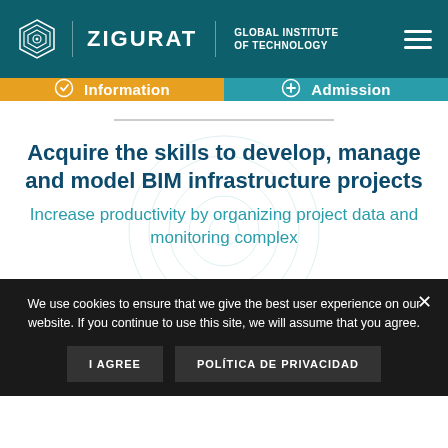[Figure (logo): Zigurat Global Institute of Technology logo with layered diamond icon]
Information
Admission
Acquire the skills to develop, manage and model BIM infrastructure projects
Increase productivity by organizing project data and monitoring complex
We use cookies to ensure that we give the best user experience on our website. If you continue to use this site, we will assume that you agree.
I AGREE
POLÍTICA DE PRIVACIDAD